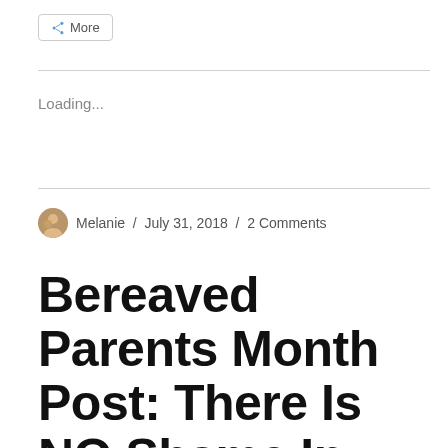[Figure (other): Share button with icon and label 'More']
Loading...
Melanie / July 31, 2018 / 2 Comments
Bereaved Parents Month Post: There Is NO Shame In Getting